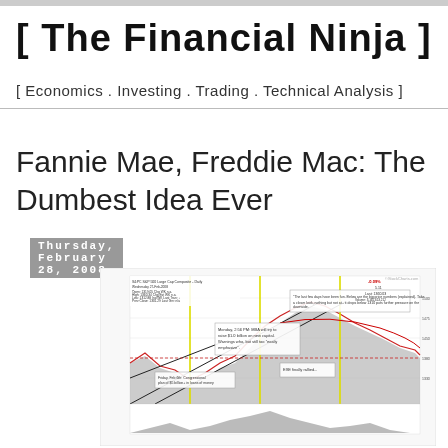[ The Financial Ninja ]
[ Economics . Investing . Trading . Technical Analysis ]
Thursday, February 28, 2008
Fannie Mae, Freddie Mac: The Dumbest Idea Ever
[Figure (continuous-plot): Stock chart showing S&P500 large cap composite with candlestick/area chart including annotations about Fannie Mae and Freddie Mac capital raising, with yellow vertical lines marking key dates, trend lines, and technical indicators. Shows price range approximately 1310-1520 with volume at bottom.]